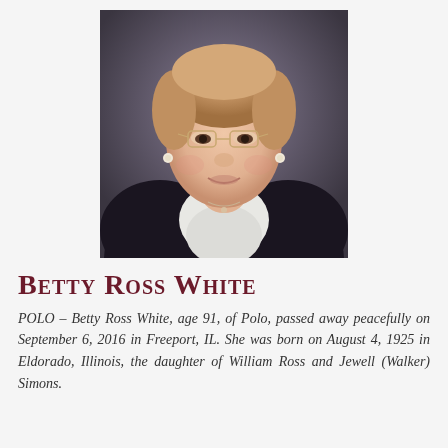[Figure (photo): Portrait photograph of Betty Ross White, an elderly woman with light reddish-brown hair, glasses, pearl earrings, a necklace, wearing a dark jacket with white collar]
Betty Ross White
POLO – Betty Ross White, age 91, of Polo, passed away peacefully on September 6, 2016 in Freeport, IL. She was born on August 4, 1925 in Eldorado, Illinois, the daughter of William Ross and Jewell (Walker) Simons.